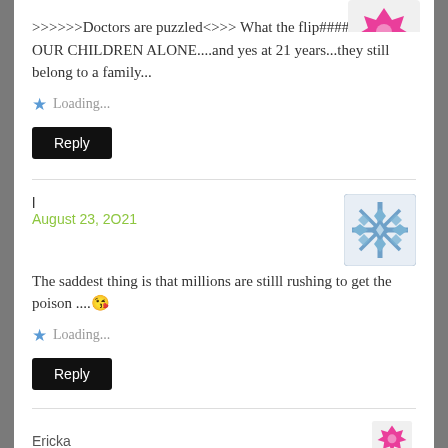[Figure (illustration): Partial pink/magenta decorative avatar icon at top right, partially cropped]
>>>>>>Doctors are puzzled<>>> What the flip####....LEAVE OUR CHILDREN ALONE....and yes at 21 years...they still belong to a family...
Loading...
Reply
l
August 23, 2021
[Figure (illustration): Blue/grey decorative snowflake-style avatar icon]
The saddest thing is that millions are stilll rushing to get the poison .... 😘
Loading...
Reply
Ericka
[Figure (illustration): Partial pink/magenta decorative avatar icon at bottom right, partially cropped]